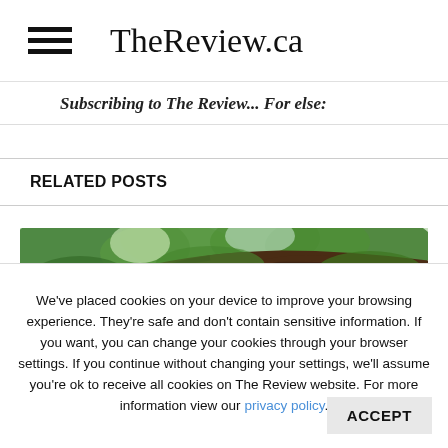TheReview.ca
Subscribing to The Review... For else:
RELATED POSTS
[Figure (photo): Photo of tree branches and green leaves viewed from below, looking up into a canopy.]
We've placed cookies on your device to improve your browsing experience. They're safe and don't contain sensitive information. If you want, you can change your cookies through your browser settings. If you continue without changing your settings, we'll assume you're ok to receive all cookies on The Review website. For more information view our privacy policy.